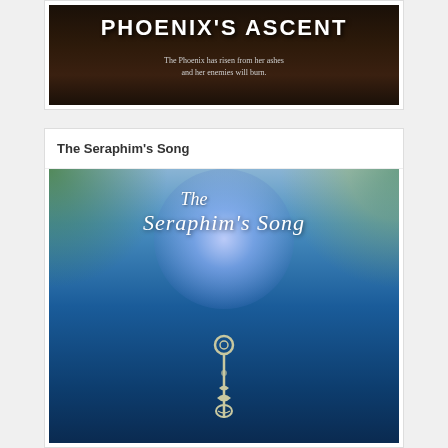[Figure (illustration): Book cover for 'Phoenix's Ascent' with dark forest background, bold white title text and subtitle 'The Phoenix has risen from her ashes and her enemies will burn.']
The Seraphim's Song
[Figure (illustration): Book cover for 'The Seraphim's Song' with blue cosmic/nebula background, white cursive title text, and an ornate key in the center foreground.]